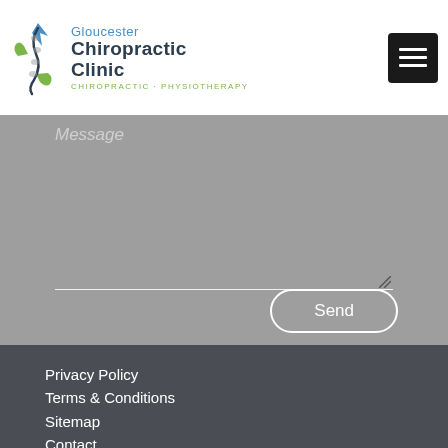[Figure (logo): Gloucester Chiropractic Clinic logo with spine/hands illustration, blue and green colors, text: Gloucester Chiropractic Clinic, CHIROPRACTIC + PHYSIOTHERAPY]
[Figure (other): Hamburger menu button, dark/black square with three white horizontal lines]
Message
Privacy Policy
Terms & Conditions
Sitemap
Contact
Gloucester Chiropractic Clinic